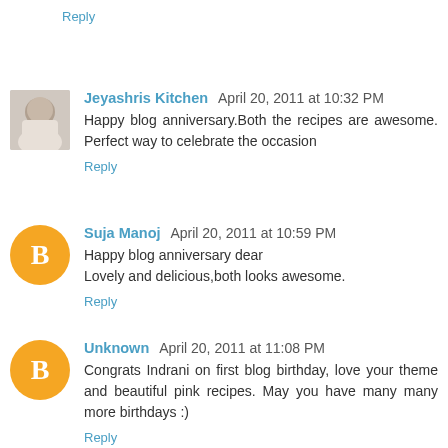Reply
Jeyashris Kitchen  April 20, 2011 at 10:32 PM
Happy blog anniversary.Both the recipes are awesome. Perfect way to celebrate the occasion
Reply
Suja Manoj  April 20, 2011 at 10:59 PM
Happy blog anniversary dear
Lovely and delicious,both looks awesome.
Reply
Unknown  April 20, 2011 at 11:08 PM
Congrats Indrani on first blog birthday, love your theme and beautiful pink recipes. May you have many many more birthdays :)
Reply